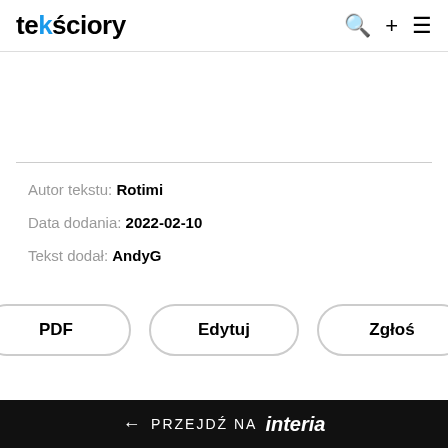tekściory
Autor tekstu: Rotimi
Data dodania: 2022-02-10
Tekst dodał: AndyG
PDF Edytuj Zgłoś
← PRZEJDŹ NA interia